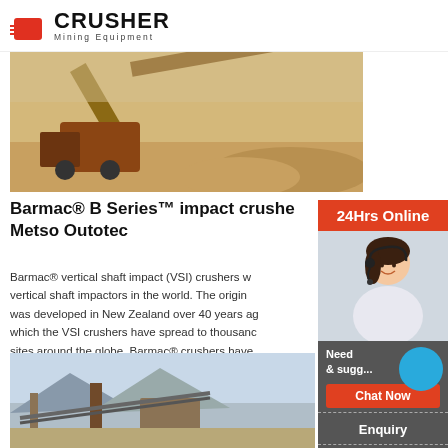CRUSHER Mining Equipment
[Figure (photo): Mining crusher equipment on site with conveyor belt]
Barmac® B Series™ impact crusher - Metso Outotec
Barmac® vertical shaft impact (VSI) crushers were the first vertical shaft impactors in the world. The original Barmac® was developed in New Zealand over 40 years ago, since which the VSI crushers have spread to thousands of sites around the globe. Barmac® crushers have evolved immensely over the years, but their trademark
Read More
[Figure (photo): Industrial mining plant with conveyors and structures]
[Figure (photo): Customer service representative with headset - 24Hrs Online sidebar]
24Hrs Online
Need & suggestions
Chat Now
Enquiry
limingjlmofen@sina.com